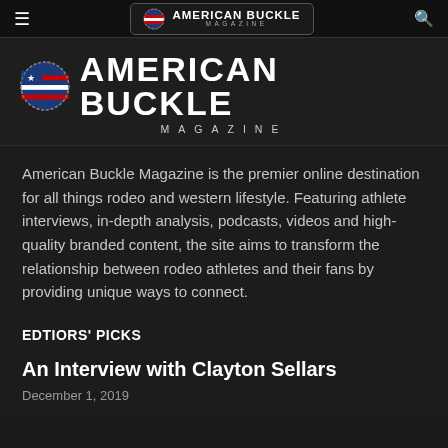AMERICAN BUCKLE MAGAZINE
[Figure (logo): American Buckle Magazine logo with US flag shield icon and large bold text 'AMERICAN BUCKLE' with 'MAGAZINE' in spaced letters below]
American Buckle Magazine is the premier online destination for all things rodeo and western lifestyle. Featuring athlete interviews, in-depth analysis, podcasts, videos and high-quality branded content, the site aims to transform the relationship between rodeo athletes and their fans by providing unique ways to connect.
EDTIORS' PICKS
An Interview with Clayton Sellars
December 1, 2019